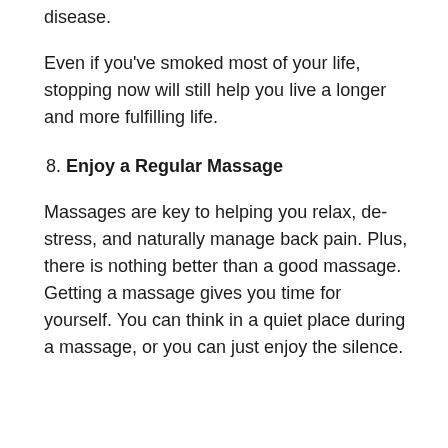disease.
Even if you've smoked most of your life, stopping now will still help you live a longer and more fulfilling life.
8. Enjoy a Regular Massage
Massages are key to helping you relax, de-stress, and naturally manage back pain. Plus, there is nothing better than a good massage. Getting a massage gives you time for yourself. You can think in a quiet place during a massage, or you can just enjoy the silence.